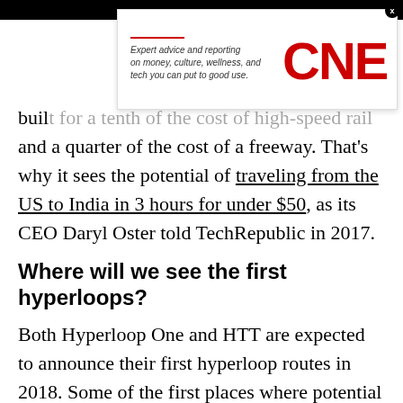[Figure (screenshot): CNET advertisement banner with tagline 'Expert advice and reporting on money, culture, wellness, and tech you can put to good use.' with CNET logo in red]
built for a tenth of the cost of high-speed rail and a quarter of the cost of a freeway. That's why it sees the potential of traveling from the US to India in 3 hours for under $50, as its CEO Daryl Oster told TechRepublic in 2017.
Where will we see the first hyperloops?
Both Hyperloop One and HTT are expected to announce their first hyperloop routes in 2018. Some of the first places where potential routes have been explored--or at least considerable interest has been reported--include:
Los Angeles to San Francisco (along the